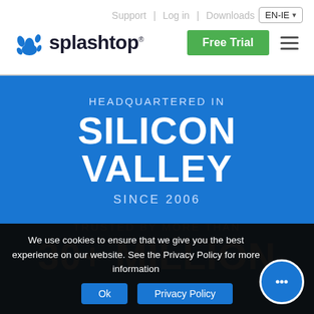Support | Log in | Downloads | EN-IE
[Figure (logo): Splashtop logo with splash icon and wordmark]
HEADQUARTERED IN
SILICON VALLEY
SINCE 2006
TRUSTED BY MORE THAN
30+ MILLION
We use cookies to ensure that we give you the best experience on our website. See the Privacy Policy for more information
Ok | Privacy Policy